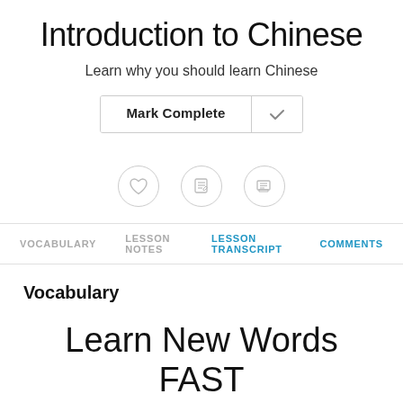Introduction to Chinese
Learn why you should learn Chinese
Mark Complete
VOCABULARY   LESSON NOTES   LESSON TRANSCRIPT   COMMENTS
Vocabulary
Learn New Words FAST with this Lesson's Vocab